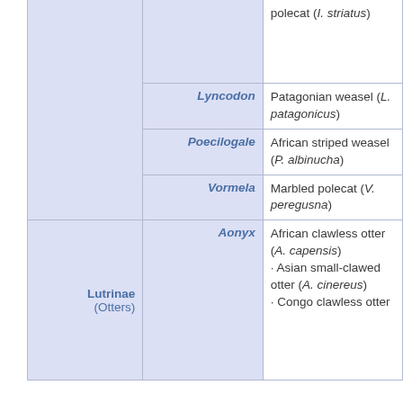| Subfamily | Genus | Species |
| --- | --- | --- |
|  |  | polecat (I. striatus) |
|  | Lyncodon | Patagonian weasel (L. patagonicus) |
|  | Poecilogale | African striped weasel (P. albinucha) |
|  | Vormela | Marbled polecat (V. peregusna) |
| Lutrinae (Otters) | Aonyx | African clawless otter (A. capensis) · Asian small-clawed otter (A. cinereus) · Congo clawless otter |